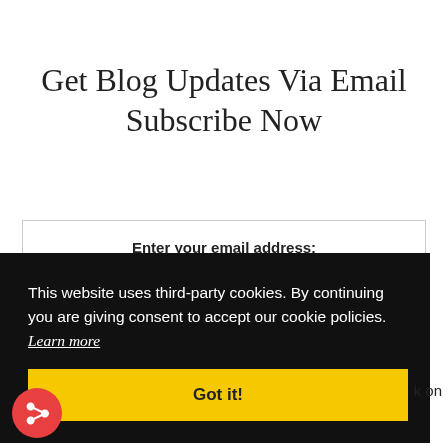Get Blog Updates Via Email Subscribe Now
Enter your email address:
This website uses third-party cookies. By continuing you are giving consent to accept our cookie policies.  Learn more
Got it!
k on